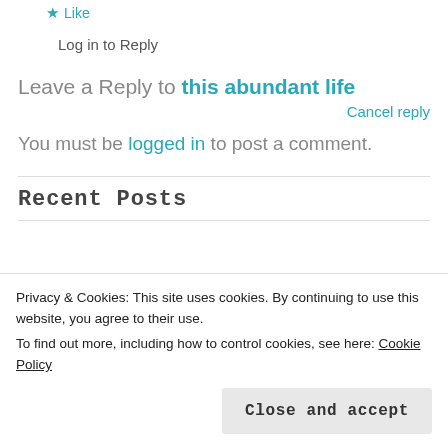★ Like
Log in to Reply
Leave a Reply to this abundant life
Cancel reply
You must be logged in to post a comment.
Recent Posts
Privacy & Cookies: This site uses cookies. By continuing to use this website, you agree to their use.
To find out more, including how to control cookies, see here: Cookie Policy
Close and accept